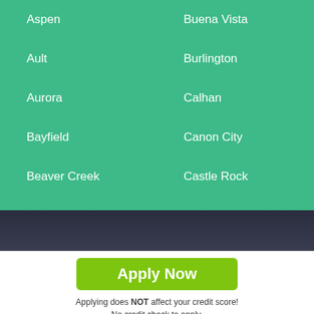Aspen
Buena Vista
Ault
Burlington
Aurora
Calhan
Bayfield
Canon City
Beaver Creek
Castle Rock
Apply Now
Applying does NOT affect your credit score! No credit check to apply.